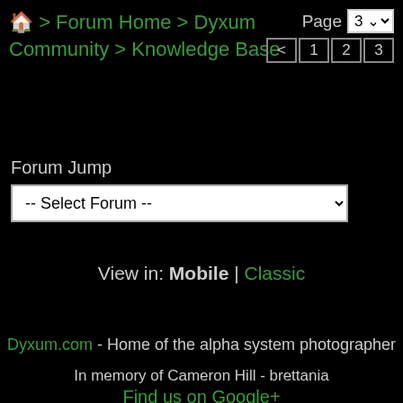🏠 > Forum Home > Dyxum Community > Knowledge Base
Page 3 < 1 2 3
Forum Jump
-- Select Forum --
View in: Mobile | Classic
Dyxum.com - Home of the alpha system photographer
In memory of Cameron Hill - brettania
Find us on Google+